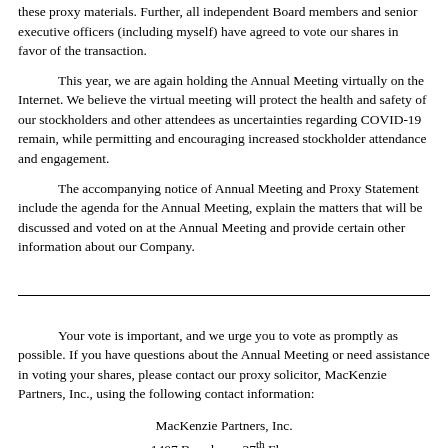these proxy materials. Further, all independent Board members and senior executive officers (including myself) have agreed to vote our shares in favor of the transaction.
This year, we are again holding the Annual Meeting virtually on the Internet. We believe the virtual meeting will protect the health and safety of our stockholders and other attendees as uncertainties regarding COVID-19 remain, while permitting and encouraging increased stockholder attendance and engagement.
The accompanying notice of Annual Meeting and Proxy Statement include the agenda for the Annual Meeting, explain the matters that will be discussed and voted on at the Annual Meeting and provide certain other information about our Company.
Your vote is important, and we urge you to vote as promptly as possible. If you have questions about the Annual Meeting or need assistance in voting your shares, please contact our proxy solicitor, MacKenzie Partners, Inc., using the following contact information:
MacKenzie Partners, Inc.
1407 Broadway, 27th Floor
New York, NY 10018